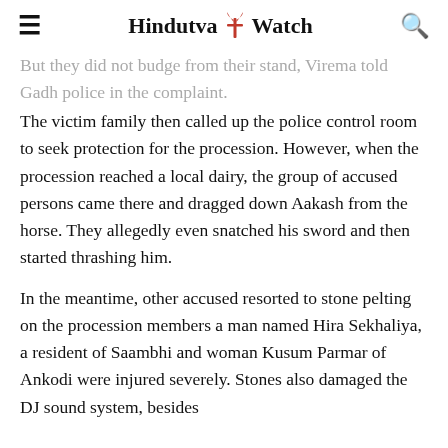Hindutva Watch
But they did not budge from their stand, Virema told Gadh police in the complaint.
The victim family then called up the police control room to seek protection for the procession. However, when the procession reached a local dairy, the group of accused persons came there and dragged down Aakash from the horse. They allegedly even snatched his sword and then started thrashing him.
In the meantime, other accused resorted to stone pelting on the procession members a man named Hira Sekhaliya, a resident of Saambhi and woman Kusum Parmar of Ankodi were injured severely. Stones also damaged the DJ sound system, besides